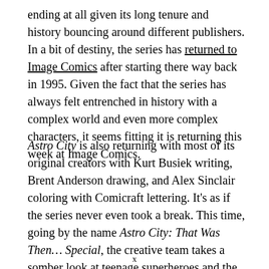ending at all given its long tenure and history bouncing around different publishers. In a bit of destiny, the series has returned to Image Comics after starting there way back in 1995. Given the fact that the series has always felt entrenched in history with a complex world and even more complex characters, it seems fitting it is returning this week at Image Comics.
Astro City is also returning with most of its original creators with Kurt Busiek writing, Brent Anderson drawing, and Alex Sinclair coloring with Comicraft lettering. It's as if the series never even took a break. This time, going by the name Astro City: That Was Then… Special, the creative team takes a somber look at teenage superheroes and the complexities of growing up in a world that continues to make the same mistakes.
x